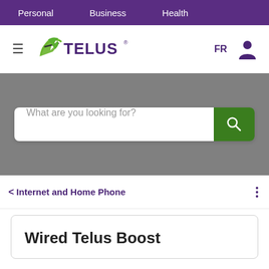Personal  Business  Health
[Figure (logo): TELUS logo with stylized green 't' and purple TELUS wordmark, hamburger menu icon on left, FR language link and user icon on right]
[Figure (screenshot): Search bar with placeholder text 'What are you looking for?' and a green search button with magnifying glass icon, on a grey background]
< Internet and Home Phone
Wired Telus Boost